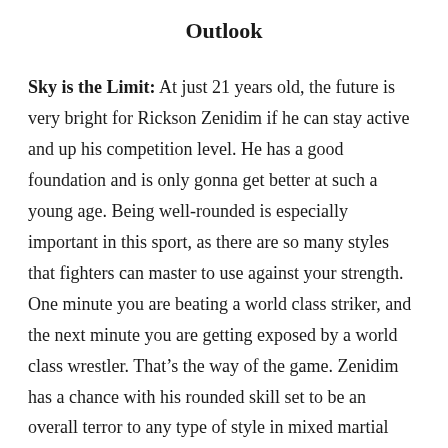Outlook
Sky is the Limit: At just 21 years old, the future is very bright for Rickson Zenidim if he can stay active and up his competition level. He has a good foundation and is only gonna get better at such a young age. Being well-rounded is especially important in this sport, as there are so many styles that fighters can master to use against your strength. One minute you are beating a world class striker, and the next minute you are getting exposed by a world class wrestler. That’s the way of the game. Zenidim has a chance with his rounded skill set to be an overall terror to any type of style in mixed martial arts.